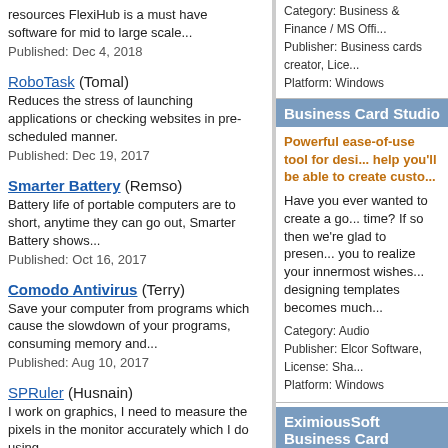resources FlexiHub is a must have software for mid to large scale...
Published: Dec 4, 2018
RoboTask (Tomal)
Reduces the stress of launching applications or checking websites in pre-scheduled manner.
Published: Dec 19, 2017
Smarter Battery (Remso)
Battery life of portable computers are to short, anytime they can go out, Smarter Battery shows...
Published: Oct 16, 2017
Comodo Antivirus (Terry)
Save your computer from programs which cause the slowdown of your programs, consuming memory and...
Published: Aug 10, 2017
SPRuler (Husnain)
I work on graphics, I need to measure the pixels in the monitor accurately which I do using...
Published: Jul 19, 2017
Website Realizer (Northild)
Category: Business & Finance / MS Offi... Publisher: Business cards creator, Lice... Platform: Windows
Business Card Studio
Powerful ease-of-use tool for desi... help you'll be able to create custo...
Have you ever wanted to create a go... time? If so then we're glad to presen... you to realize your innermost wishes... designing templates becomes much...
Category: Audio Publisher: Elcor Software, License: Sha... Platform: Windows
EximiousSoft Business Card
EximiousSoft Business Card Desi... You can add you own texts, photo... images.It supports to save cards t...
EximiousSoft Business Card Desig... looking Business cards. With which,... pre-designed Business Card templa... attractive cards. That happens so ea...
Category: Games / Tools & Editors Publisher: EximiousSoft, License: Share...